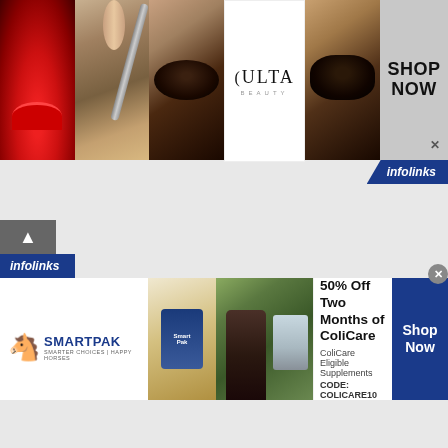[Figure (photo): Ulta Beauty advertisement banner showing makeup photos (lips with red lipstick, makeup brush, eye with dark eyeshadow, Ulta Beauty logo, dramatic eye makeup), with 'SHOP NOW' button and infolinks badge]
[Figure (photo): SmartPak advertisement banner showing product image and woman with horse, text '50% Off Two Months of ColiCare', 'ColiCare Eligible Supplements', 'CODE: COLICARE10', 'Shop Now' button, with infolinks badge]